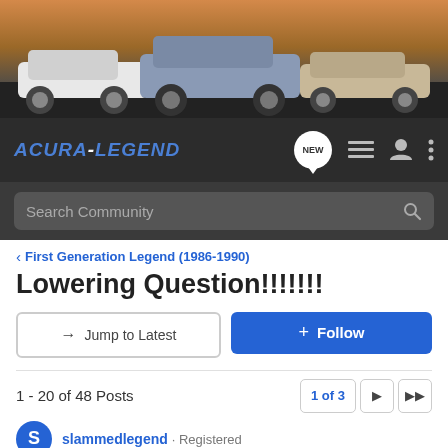[Figure (photo): Banner image showing three Acura Legend cars parked on a dark surface with a sunset/orange sky background]
[Figure (logo): Acura-Legend forum logo in blue italic text on dark navbar, with NEW chat bubble icon, list icon, user icon, and menu dots]
Search Community
< First Generation Legend (1986-1990)
Lowering Question!!!!!!!
→ Jump to Latest
+ Follow
1 - 20 of 48 Posts
1 of 3
slammedlegend · Registered